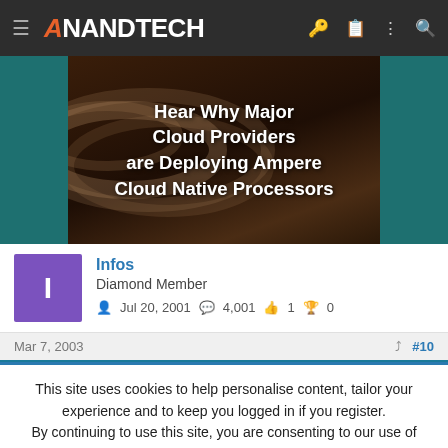AnandTech
[Figure (illustration): Advertisement banner: Hear Why Major Cloud Providers are Deploying Ampere Cloud Native Processors, with decorative arc graphics on dark brown background and teal side bars]
Infos
Diamond Member
Jul 20, 2001  4,001  1  0
Mar 7, 2003  #10
This site uses cookies to help personalise content, tailor your experience and to keep you logged in if you register.
By continuing to use this site, you are consenting to our use of cookies.